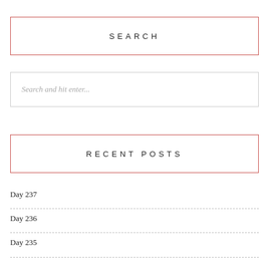SEARCH
Search and hit enter...
RECENT POSTS
Day 237
Day 236
Day 235